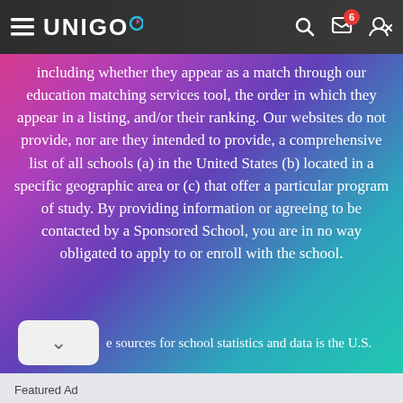UNIGO
including whether they appear as a match through our education matching services tool, the order in which they appear in a listing, and/or their ranking. Our websites do not provide, nor are they intended to provide, a comprehensive list of all schools (a) in the United States (b) located in a specific geographic area or (c) that offer a particular program of study. By providing information or agreeing to be contacted by a Sponsored School, you are in no way obligated to apply to or enroll with the school.
e sources for school statistics and data is the U.S.
Featured Ad
Enter the $50,000 Scholarship from Niche.
Last day to enter is August 31st
APPLY NOW!